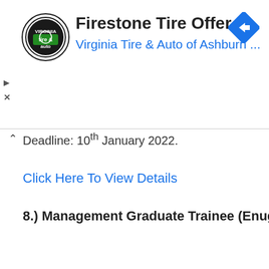[Figure (screenshot): Firestone Tire Offer advertisement banner with Virginia Tire & Auto of Ashburn logo, title text, subtitle in blue, and a blue diamond navigation arrow icon on the right. Play and close (X) controls on the left edge.]
Deadline: 10th January 2022.
Click Here To View Details
8.) Management Graduate Trainee (Enugu)